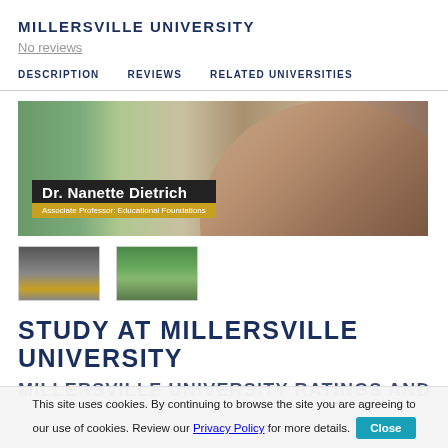MILLERSVILLE UNIVERSITY
No reviews
DESCRIPTION   REVIEWS   RELATED UNIVERSITIES
[Figure (photo): Video thumbnail of Dr. Nanette Dietrich, Associate Professor: Educational Foundations, Millersville University — woman with long brown hair, blurred background]
[Figure (photo): Small thumbnail: Dr. Nanette Dietrich portrait]
[Figure (photo): Small thumbnail: Campus building with greenery and water]
STUDY AT MILLERSVILLE UNIVERSITY
MILLERSVILLE UNIVERSITY RATINGS AND
This site uses cookies. By continuing to browse the site you are agreeing to our use of cookies. Review our Privacy Policy for more details.